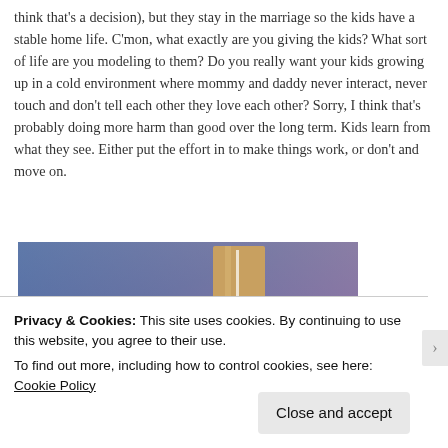think that's a decision), but they stay in the marriage so the kids have a stable home life. C'mon, what exactly are you giving the kids? What sort of life are you modeling to them? Do you really want your kids growing up in a cold environment where mommy and daddy never interact, never touch and don't tell each other they love each other? Sorry, I think that's probably doing more harm than good over the long term. Kids learn from what they see. Either put the effort in to make things work, or don't and move on.
[Figure (photo): Partial view of an image with blue-to-purple gradient background and a tan/brown rectangular element in the center-right area]
Privacy & Cookies: This site uses cookies. By continuing to use this website, you agree to their use.
To find out more, including how to control cookies, see here: Cookie Policy
Close and accept